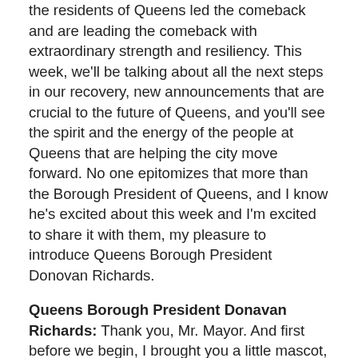the residents of Queens led the comeback and are leading the comeback with extraordinary strength and resiliency. This week, we'll be talking about all the next steps in our recovery, new announcements that are crucial to the future of Queens, and you'll see the spirit and the energy of the people at Queens that are helping the city move forward. No one epitomizes that more than the Borough President of Queens, and I know he's excited about this week and I'm excited to share it with them, my pleasure to introduce Queens Borough President Donovan Richards.
Queens Borough President Donavan Richards: Thank you, Mr. Mayor. And first before we begin, I brought you a little mascot, New York Mets. We hope to continue to try to convert you.
Mayor: Yeah, this is cool. This could do it right there.
Borough President Richards: Well, good morning, Mr. Mayor and welcome to Queens. We are honored to host